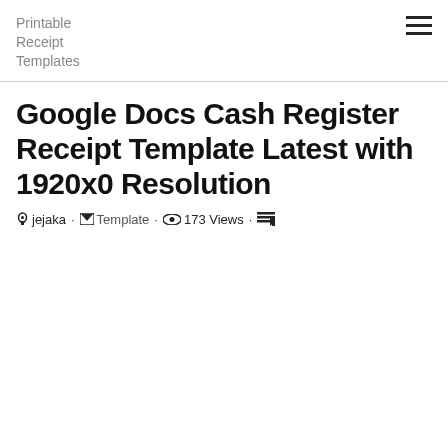Printable Receipt Templates
Google Docs Cash Register Receipt Template Latest with 1920x0 Resolution
jejaka · Template · 173 Views ·